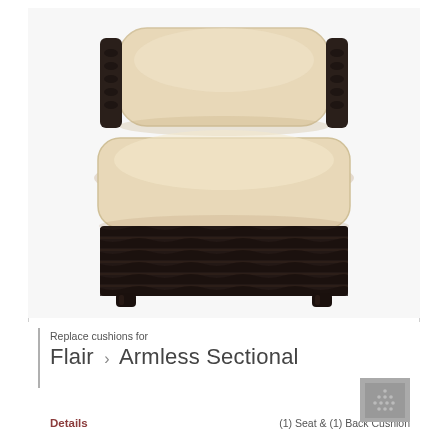[Figure (photo): Top-down front view of a wicker armless sectional chair with beige/cream cushions (seat and back cushion) and dark brown woven rattan frame with short legs, photographed on white background]
Replace cushions for
Flair  >  Armless Sectional
Details     (1) Seat & (1) Back Cushion